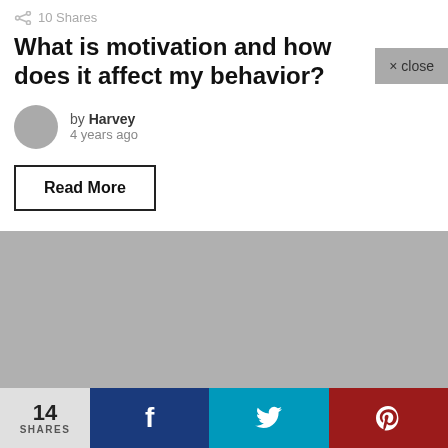10 Shares
What is motivation and how does it affect my behavior?
× close
by Harvey
4 years ago
Read More
[Figure (screenshot): Gray placeholder card area with a fire icon button in the top-right corner (tan/beige background) and a scroll-to-top arrow button in the bottom-right corner (gray background)]
14 SHARES
f
🐦
Ⓟ